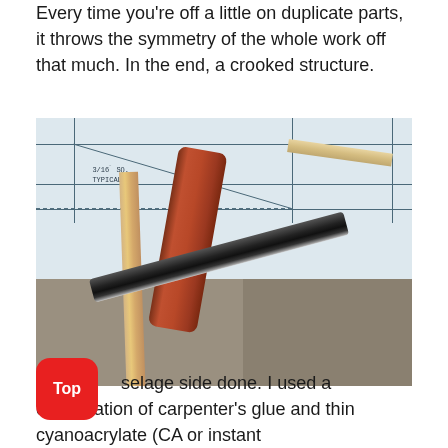Every time you're off a little on duplicate parts, it throws the symmetry of the whole work off that much. In the end, a crooked structure.
[Figure (photo): Photo of model aircraft building tools and materials on a workbench: wooden strips, a red/brown flat stick, a black hobby knife/pen, laid on top of a blueprint plan showing '3/16 SQ. TYPICAL' annotation. The blueprint is on a wooden workbench surface.]
Top fuselage side done. I used a combination of carpenter's glue and thin cyanoacrylate (CA or instant